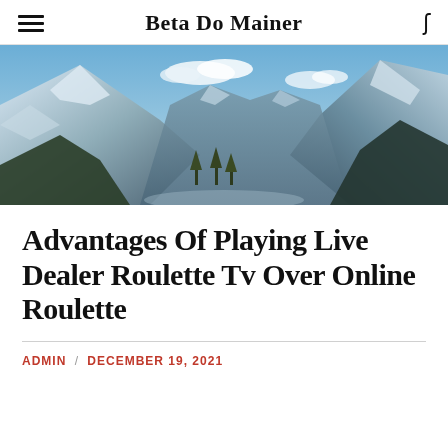Beta Do Mainer
[Figure (photo): Mountain landscape with snow-capped peaks under a blue sky with clouds]
Advantages Of Playing Live Dealer Roulette Tv Over Online Roulette
ADMIN / DECEMBER 19, 2021